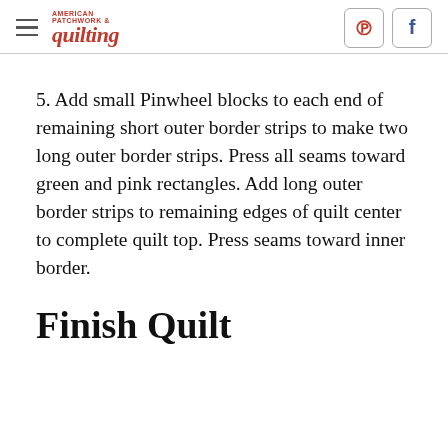American Patchwork & Quilting
5. Add small Pinwheel blocks to each end of remaining short outer border strips to make two long outer border strips. Press all seams toward green and pink rectangles. Add long outer border strips to remaining edges of quilt center to complete quilt top. Press seams toward inner border.
Finish Quilt